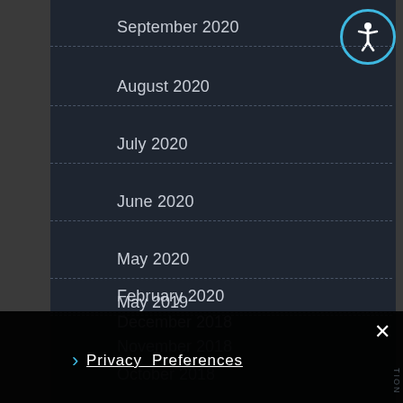September 2020
August 2020
July 2020
June 2020
May 2020
February 2020
May 2019
December 2018
November 2018
October 2018
× Privacy Preferences I Agree